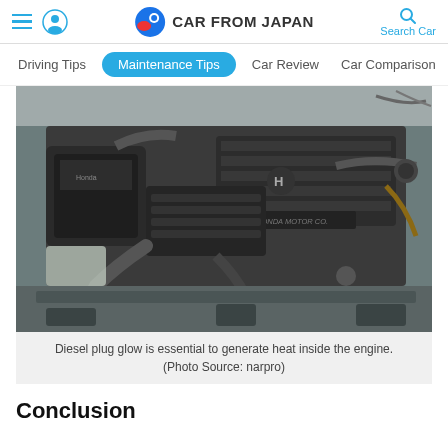CAR FROM JAPAN — Driving Tips | Maintenance Tips | Car Review | Car Comparison
[Figure (photo): A Honda car engine bay showing engine components, hoses, wires, and engine cover labeled Honda Motor Co.]
Diesel plug glow is essential to generate heat inside the engine. (Photo Source: narpro)
Conclusion